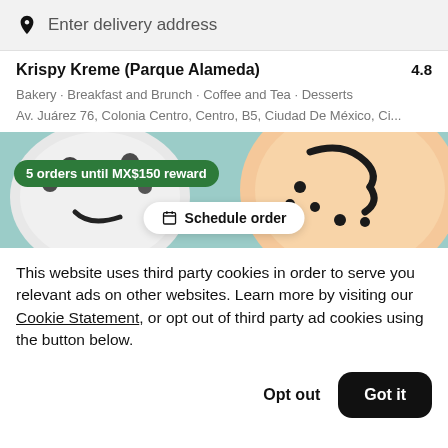Enter delivery address
Krispy Kreme (Parque Alameda) 4.8
Bakery · Breakfast and Brunch · Coffee and Tea · Desserts
Av. Juárez 76, Colonia Centro, Centro, B5, Ciudad De México, Ci...
[Figure (photo): Promotional banner showing decorated Krispy Kreme donuts with a reward badge '5 orders until MX$150 reward' and a 'Schedule order' button overlay]
This website uses third party cookies in order to serve you relevant ads on other websites. Learn more by visiting our Cookie Statement, or opt out of third party ad cookies using the button below.
Opt out
Got it